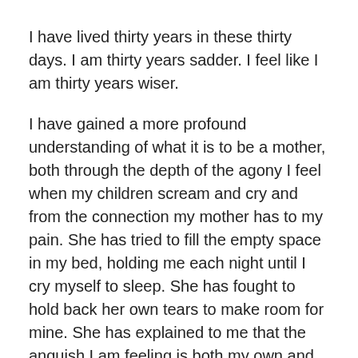I have lived thirty years in these thirty days. I am thirty years sadder. I feel like I am thirty years wiser.
I have gained a more profound understanding of what it is to be a mother, both through the depth of the agony I feel when my children scream and cry and from the connection my mother has to my pain. She has tried to fill the empty space in my bed, holding me each night until I cry myself to sleep. She has fought to hold back her own tears to make room for mine. She has explained to me that the anguish I am feeling is both my own and my children's, and I understood that she was right as I saw the pain in her own eyes.
I have learned that I never really knew what to say to others in need. I think I got this all wrong before; I tried to